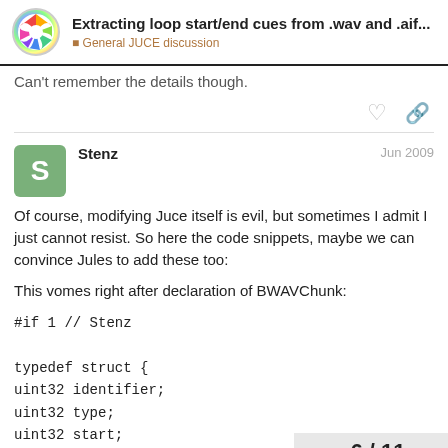Extracting loop start/end cues from .wav and .aif... — General JUCE discussion
Can't remember the details though.
Stenz — Jun 2009
Of course, modifying Juce itself is evil, but sometimes I admit I just cannot resist. So here the code snippets, maybe we can convince Jules to add these too:
This vomes right after declaration of BWAVChunk:
#if 1 // Stenz
typedef struct {
uint32 identifier;
uint32 type;
uint32 start;
uint32 end;
6 / 11